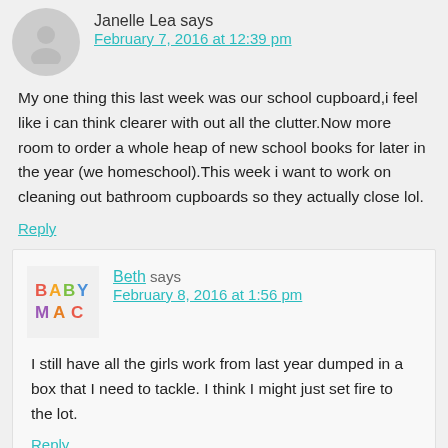Janelle Lea says
February 7, 2016 at 12:39 pm
My one thing this last week was our school cupboard,i feel like i can think clearer with out all the clutter.Now more room to order a whole heap of new school books for later in the year (we homeschool).This week i want to work on cleaning out bathroom cupboards so they actually close lol.
Reply
Beth says
February 8, 2016 at 1:56 pm
I still have all the girls work from last year dumped in a box that I need to tackle. I think I might just set fire to the lot.
Reply